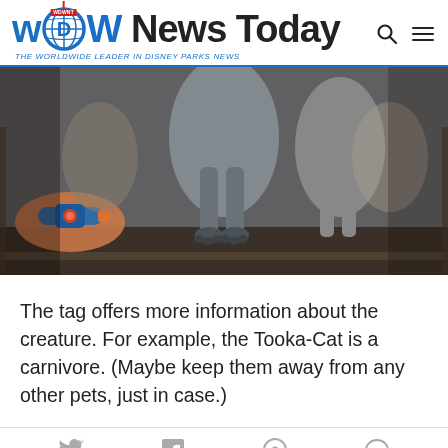WDW News Today – THE WORLDWIDE LEADER IN DISNEY PARKS NEWS
[Figure (photo): Close-up photo of stuffed plush creature toys (likely Tooka-Cat) on a shelf, with a child's arm wearing a MagicBand wristband visible in the lower left.]
The tag offers more information about the creature. For example, the Tooka-Cat is a carnivore. (Maybe keep them away from any other pets, just in case.)
Social share icons: Twitter, Facebook, Pinterest, Messenger